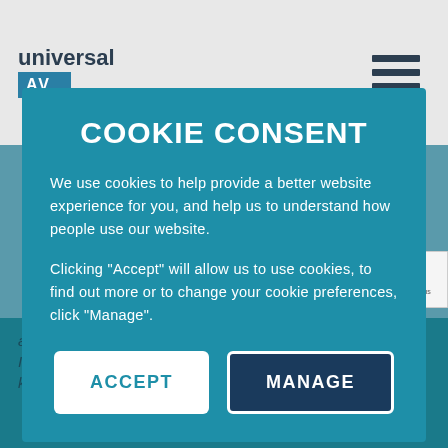[Figure (logo): Universal AV logo in header bar with hamburger menu icon on right]
COOKIE CONSENT
We use cookies to help provide a better website experience for you, and help us to understand how people use our website.

Clicking "Accept" will allow us to use cookies, to find out more or to change your cookie preferences, click "Manage".
ACCEPT
MANAGE
advancements. Universal AV were the chosen Integrator and showed through their expertise knowledge once again they can deliver a first class